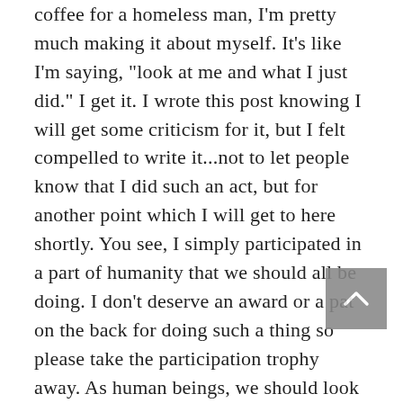coffee for a homeless man, I'm pretty much making it about myself. It's like I'm saying, "look at me and what I just did." I get it. I wrote this post knowing I will get some criticism for it, but I felt compelled to write it...not to let people know that I did such an act, but for another point which I will get to here shortly. You see, I simply participated in a part of humanity that we should all be doing. I don't deserve an award or a pat on the back for doing such a thing so please take the participation trophy away. As human beings, we should look out for each other, but as a Christian I have no excuse not help those I see that are struggling. God doesn't suggest to maybe help...no he tells us